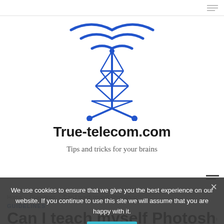True-telecom.com navigation bar
[Figure (logo): Blue wireless transmission tower / antenna icon with signal waves radiating from top]
True-telecom.com
Tips and tricks for your brains
GUIDELINES
Can I teach myself Photoshop?
We use cookies to ensure that we give you the best experience on our website. If you continue to use this site we will assume that you are happy with it.